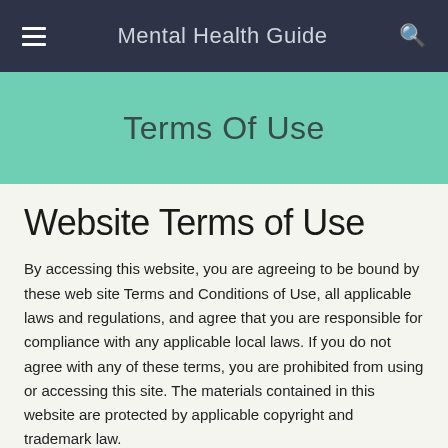Mental Health Guide
Terms Of Use
Website Terms of Use
By accessing this website, you are agreeing to be bound by these web site Terms and Conditions of Use, all applicable laws and regulations, and agree that you are responsible for compliance with any applicable local laws. If you do not agree with any of these terms, you are prohibited from using or accessing this site. The materials contained in this website are protected by applicable copyright and trademark law.
Intellectual Property Rights